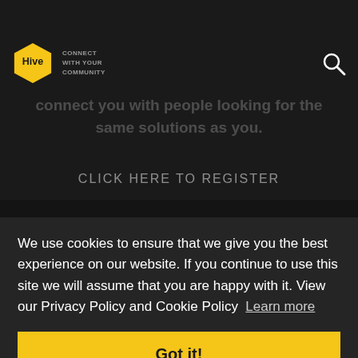JOIN THE HIVE NETWORK
[Figure (logo): Hive logo: yellow hexagon with 'Hive' text and tagline 'Connect with your community']
connect you with people looking for the same solutions as you.
CLICK HERE TO REGISTER
We use cookies to ensure that we give you the best experience on our website. If you continue to use this site we will assume that you are happy with it. View our Privacy Policy and Cookie Policy Learn more
Got it!